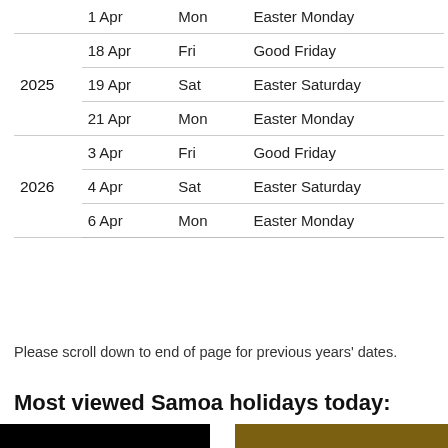| Year | Date | Day | Holiday |
| --- | --- | --- | --- |
|  | 1 Apr | Mon | Easter Monday |
| 2025 | 18 Apr | Fri | Good Friday |
|  | 19 Apr | Sat | Easter Saturday |
|  | 21 Apr | Mon | Easter Monday |
| 2026 | 3 Apr | Fri | Good Friday |
|  | 4 Apr | Sat | Easter Saturday |
|  | 6 Apr | Mon | Easter Monday |
Please scroll down to end of page for previous years' dates.
Most viewed Samoa holidays today:
[Figure (photo): Two partially visible thumbnail images at the bottom of the page — left is black, right is olive/dark yellow-brown.]